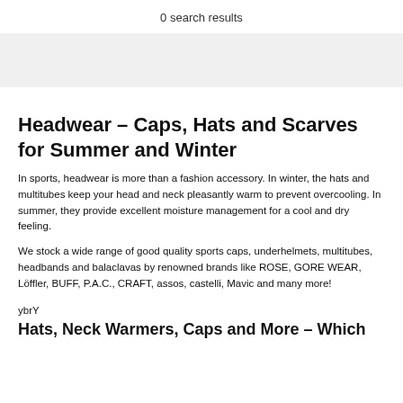0 search results
Headwear – Caps, Hats and Scarves for Summer and Winter
In sports, headwear is more than a fashion accessory. In winter, the hats and multitubes keep your head and neck pleasantly warm to prevent overcooling. In summer, they provide excellent moisture management for a cool and dry feeling.
We stock a wide range of good quality sports caps, underhelmets, multitubes, headbands and balaclavas by renowned brands like ROSE, GORE WEAR, Löffler, BUFF, P.A.C., CRAFT, assos, castelli, Mavic and many more!
ybrY
Hats, Neck Warmers, Caps and More – Which